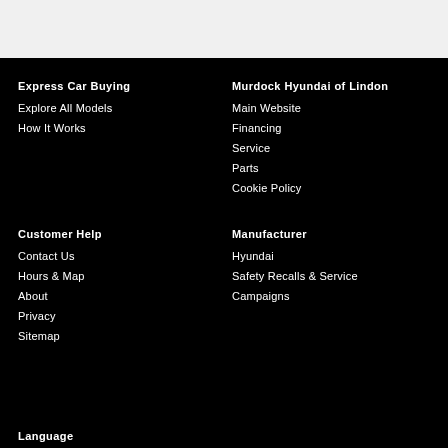Express Car Buying
Explore All Models
How It Works
Murdock Hyundai of Lindon
Main Website
Financing
Service
Parts
Cookie Policy
Customer Help
Contact Us
Hours & Map
About
Privacy
Sitemap
Manufacturer
Hyundai
Safety Recalls & Service Campaigns
Language